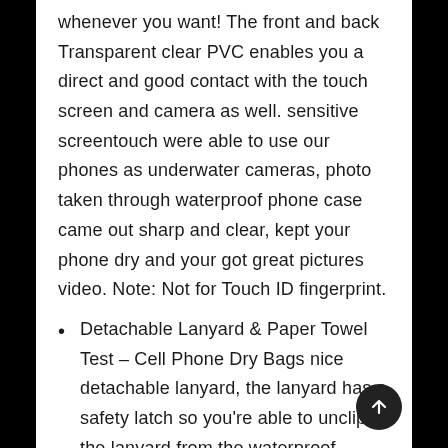whenever you want! The front and back Transparent clear PVC enables you a direct and good contact with the touch screen and camera as well. sensitive screentouch were able to use our phones as underwater cameras, photo taken through waterproof phone case came out sharp and clear, kept your phone dry and your got great pictures video. Note: Not for Touch ID fingerprint.
Detachable Lanyard & Paper Towel Test – Cell Phone Dry Bags nice detachable lanyard, the lanyard has a safety latch so you're able to unclip the lanyard from the waterproof pouch. Lanyard is easily detachable from the phone and is comfortable around the neck. Normal to have slight fog caused by